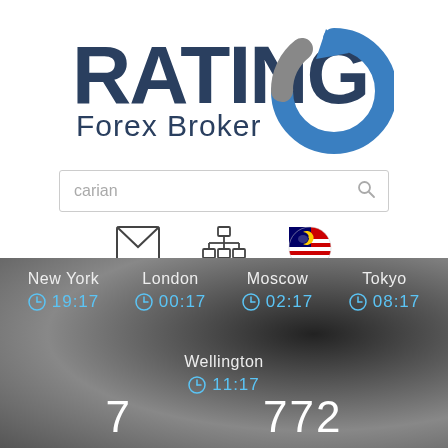[Figure (logo): RatingFX Forex Broker logo with blue circular arrow icon and text RATING in dark blue/gray with Forex Broker subtitle]
[Figure (screenshot): Search bar with placeholder text 'carian' and magnifier icon]
[Figure (infographic): Three icons: envelope/mail icon, network/hierarchy icon, Malaysia flag globe icon with dropdown arrow]
[Figure (infographic): World clock display on dark background showing city times: New York 19:17, London 00:17, Moscow 02:17, Tokyo 08:17, Wellington 11:17, with numbers 7 and 772 at bottom]